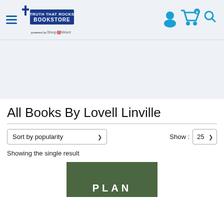[Figure (logo): Truth That Rocks Bookstore logo with a cross, powered by ShopTheWord]
[Figure (infographic): User account icon, shopping cart with 0 items badge, and search icon in teal/blue color]
[Figure (other): Light blue advertisement/banner placeholder space]
All Books By Lovell Linville
Sort by popularity | Show: 25
Showing the single result
[Figure (photo): Green book cover with white text reading PLAN (partially visible)]